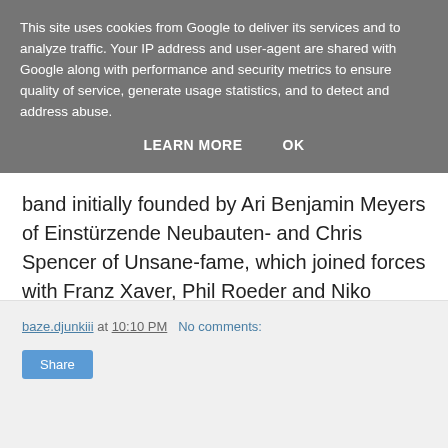This site uses cookies from Google to deliver its services and to analyze traffic. Your IP address and user-agent are shared with Google along with performance and security metrics to ensure quality of service, generate usage statistics, and to detect and address abuse.
LEARN MORE   OK
band initially founded by Ari Benjamin Meyers of Einstürzende Neubauten- and Chris Spencer of Unsane-fame, which joined forces with Franz Xaver, Phil Roeder and Niko Wenner to serve a heavyweight album piece, clearly influenced by Hardcore and showing off some uncompromising wall of sound-attitude alongside a will to experiment with and extend the accepted borders of this genre that is hardly to be found these days.
baze.djunkiii at 10:10 PM   No comments:
Share